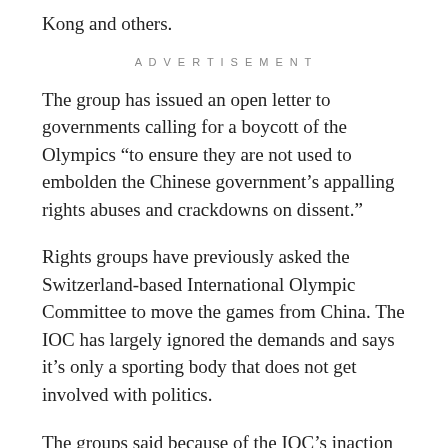Kong and others.
ADVERTISEMENT
The group has issued an open letter to governments calling for a boycott of the Olympics “to ensure they are not used to embolden the Chinese government’s appalling rights abuses and crackdowns on dissent.”
Rights groups have previously asked the Switzerland-based International Olympic Committee to move the games from China. The IOC has largely ignored the demands and says it’s only a sporting body that does not get involved with politics.
The groups said because of the IOC’s inaction “it now falls on governments to take a stand and demonstrate that they have the political will to push back against China’s…hensible human rights abuses.”